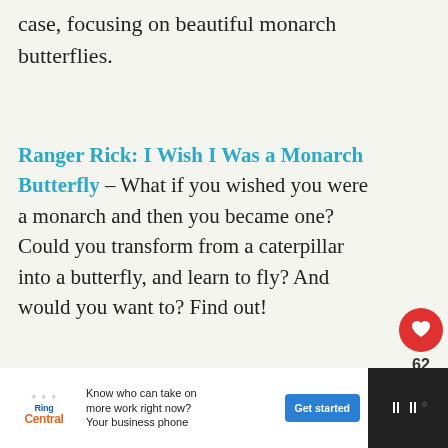case, focusing on beautiful monarch butterflies.
Ranger Rick: I Wish I Was a Monarch Butterfly – What if you wished you were a monarch and then you became one? Could you transform from a caterpillar into a butterfly, and learn to fly? And would you want to? Find out!
[Figure (screenshot): Heart/like button (red circle with white heart icon) showing count 62, and a share button below]
[Figure (infographic): What's Next arrow box with small book cover thumbnail and text: WHAT'S NEXT → Nonfiction Books Abou...]
[Figure (photo): Partial view of a butterfly photo at bottom of page, with advertisement bar overlaid: RingCentral ad - Know who can take on more work right now? Your business phone - Get started button]